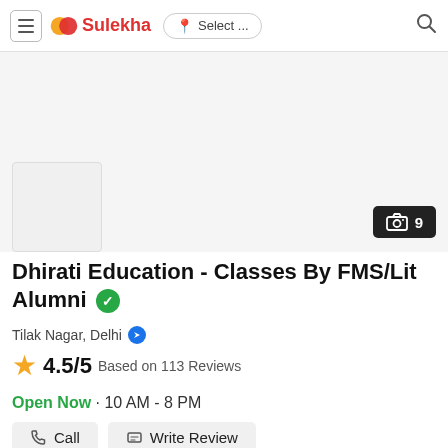Sulekha  Select ...
[Figure (photo): Hero image area (light gray background) with a white thumbnail placeholder image in the bottom left and a camera icon badge showing '9' photos in the bottom right]
Dhirati Education - Classes By FMS/Lit Alumni ✓
Tilak Nagar, Delhi
★ 4.5/5 Based on 113 Reviews
Open Now · 10 AM - 8 PM
Call   Write Review